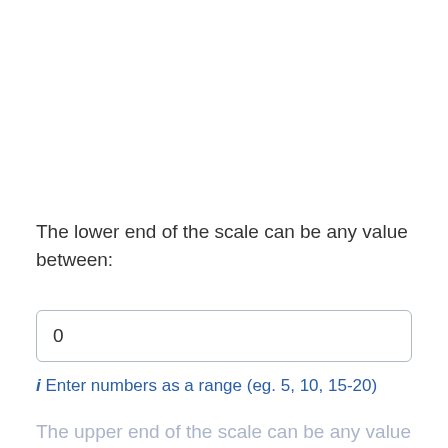The lower end of the scale can be any value between:
0
i Enter numbers as a range (eg. 5, 10, 15-20)
The upper end of the scale can be any value between: